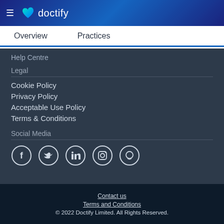doctify
Overview   Practices
Help Centre
Legal
Cookie Policy
Privacy Policy
Acceptable Use Policy
Terms & Conditions
Social Media
[Figure (illustration): Row of 5 social media icons: Facebook, Twitter, LinkedIn, Instagram, Chat/Doctify]
Contact us | Terms and Conditions | © 2022 Doctify Limited. All Rights Reserved.